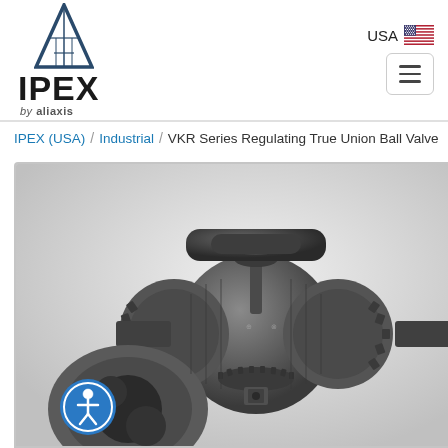[Figure (logo): IPEX by aliaxis company logo with triangular building/skyscraper icon above bold IPEX text and 'by aliaxis' subtitle]
[Figure (logo): USA flag icon with 'USA' text label]
[Figure (other): Hamburger menu button with three horizontal lines]
IPEX (USA)  /  Industrial  /  VKR Series Regulating True Union Ball Valve
[Figure (photo): Product photo of the VKR Series Regulating True Union Ball Valve, a dark grey industrial PVC ball valve with toothed union rings, a flat handle on top, and visible ball insert components in foreground. Accessibility icon visible at bottom left.]